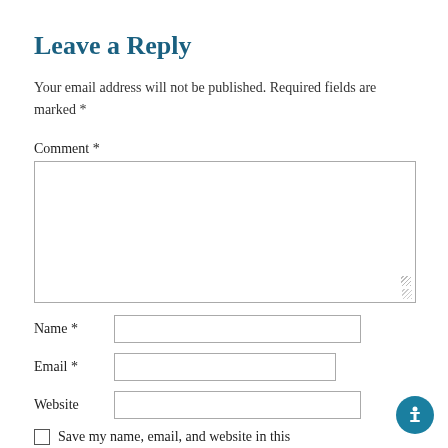Leave a Reply
Your email address will not be published. Required fields are marked *
Comment *
[Figure (other): Comment text area input box]
Name *
Email *
Website
Save my name, email, and website in this